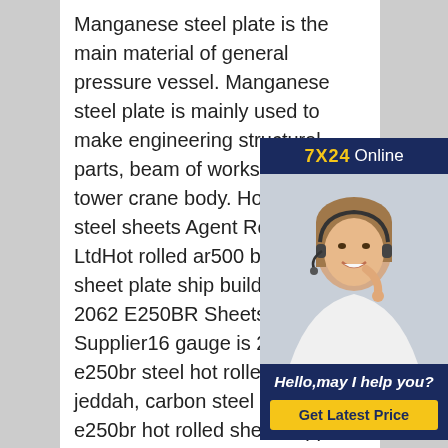Manganese steel plate is the main material of general pressure vessel. Manganese steel plate is mainly used to make engineering structural parts, beam of workshop and tower crane body. Hot-rolled steel sheets Agent Royal Group LtdHot rolled ar500 black steel sheet plate ship building, 545 IS 2062 E250BR Sheets Plate Supplier16 gauge is 2062 e250br steel hot rolled plate in jeddah, carbon steel is 2062 e250br hot rolled sheet supplier, carbon steel is 2062 e250br coils manufacturers in saudi arabia, carbon steel is 2062 e250br plate supplier, mild steel is 2062 e250br plate manufacturer in dammam, high tensile structural steel sheets is 2062 e250br price, ms is 2062 e250br hot
[Figure (infographic): Customer support widget overlay with dark navy background. Top bar shows '7X24' in yellow and 'Online' in white. Center shows photo of a smiling woman with headset. Bottom section has italic text 'Hello,may I help you?' in white and a yellow button 'Get Latest Price'.]